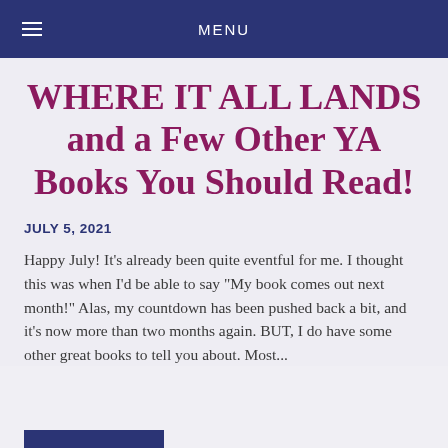MENU
WHERE IT ALL LANDS and a Few Other YA Books You Should Read!
JULY 5, 2021
Happy July! It's already been quite eventful for me. I thought this was when I'd be able to say "My book comes out next month!" Alas, my countdown has been pushed back a bit, and it's now more than two months again. BUT, I do have some other great books to tell you about. Most...